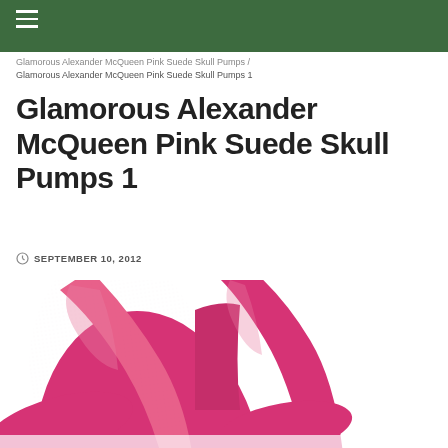Navigation bar with hamburger menu
Glamorous Alexander McQueen Pink Suede Skull Pumps / Glamorous Alexander McQueen Pink Suede Skull Pumps 1
Glamorous Alexander McQueen Pink Suede Skull Pumps 1
SEPTEMBER 10, 2012
[Figure (photo): Close-up photo of hot pink/fuchsia suede high heel pumps by Alexander McQueen, showing the toe and upper portion of the shoes against a white background]